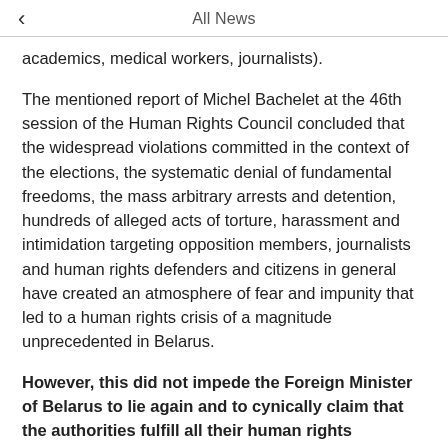All News
academics, medical workers, journalists).
The mentioned report of Michel Bachelet at the 46th session of the Human Rights Council concluded that the widespread violations committed in the context of the elections, the systematic denial of fundamental freedoms, the mass arbitrary arrests and detention, hundreds of alleged acts of torture, harassment and intimidation targeting opposition members, journalists and human rights defenders and citizens in general have created an atmosphere of fear and impunity that led to a human rights crisis of a magnitude unprecedented in Belarus.
However, this did not impede the Foreign Minister of Belarus to lie again and to cynically claim that the authorities fulfill all their human rights obligations, strictly observing the international treaties. The latest